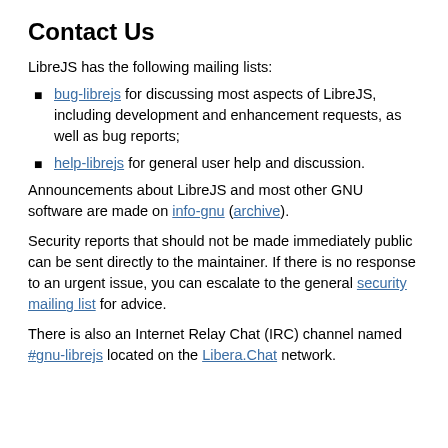Contact Us
LibreJS has the following mailing lists:
bug-librejs for discussing most aspects of LibreJS, including development and enhancement requests, as well as bug reports;
help-librejs for general user help and discussion.
Announcements about LibreJS and most other GNU software are made on info-gnu (archive).
Security reports that should not be made immediately public can be sent directly to the maintainer. If there is no response to an urgent issue, you can escalate to the general security mailing list for advice.
There is also an Internet Relay Chat (IRC) channel named #gnu-librejs located on the Libera.Chat network.